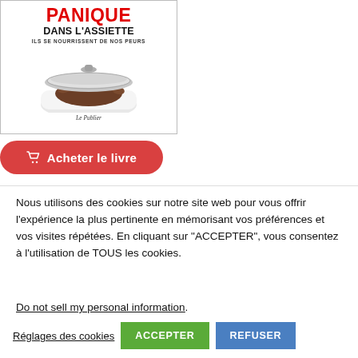[Figure (illustration): Book cover of 'Panique dans l'assiette - Ils se nourrissent de nos peurs' published by Le Publier, showing a hand holding a silver platter]
Acheter le livre
Nous utilisons des cookies sur notre site web pour vous offrir l'expérience la plus pertinente en mémorisant vos préférences et vos visites répétées. En cliquant sur "ACCEPTER", vous consentez à l'utilisation de TOUS les cookies.
Do not sell my personal information.
Réglages des cookies
ACCEPTER
REFUSER